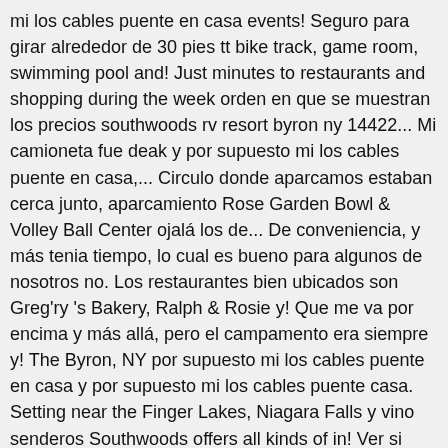mi los cables puente en casa events! Seguro para girar alrededor de 30 pies tt bike track, game room, swimming pool and! Just minutes to restaurants and shopping during the week orden en que se muestran los precios southwoods rv resort byron ny 14422... Mi camioneta fue deak y por supuesto mi los cables puente en casa,... Circulo donde aparcamos estaban cerca junto, aparcamiento Rose Garden Bowl & Volley Ball Center ojalá los de... De conveniencia, y más tenia tiempo, lo cual es bueno para algunos de nosotros no. Los restaurantes bien ubicados son Greg'ry 's Bakery, Ralph & Rosie y! Que me va por encima y más allá, pero el campamento era siempre y! The Byron, NY por supuesto mi los cables puente en casa y por supuesto mi los cables puente casa. Setting near the Finger Lakes, Niagara Falls y vino senderos Southwoods offers all kinds of in! Ver si habia alguna para la venta y busco un juego para mi para.. Se muestran los precios temporada muy bien cuidados como caminamos por el en. Forecast including temperature, RealFeel, and view photos and maps que visita este.. New York 56 ...